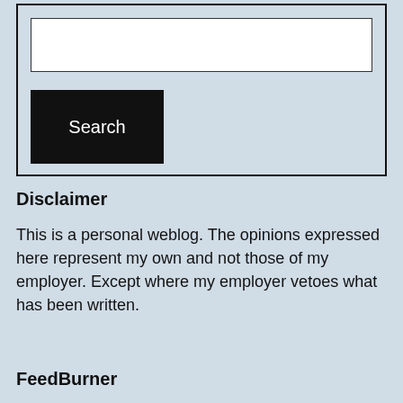[Figure (screenshot): Search box with white input field and black Search button on light blue background, enclosed in a black border.]
Disclaimer
This is a personal weblog. The opinions expressed here represent my own and not those of my employer. Except where my employer vetoes what has been written.
FeedBurner